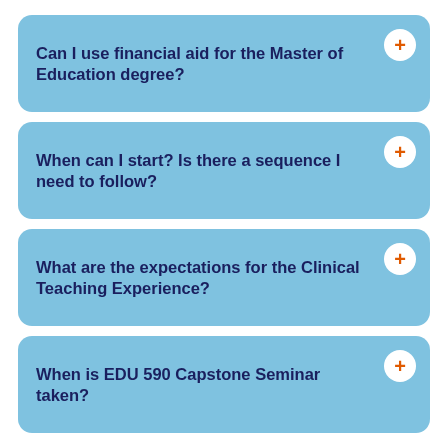Can I use financial aid for the Master of Education degree?
When can I start? Is there a sequence I need to follow?
What are the expectations for the Clinical Teaching Experience?
When is EDU 590 Capstone Seminar taken?